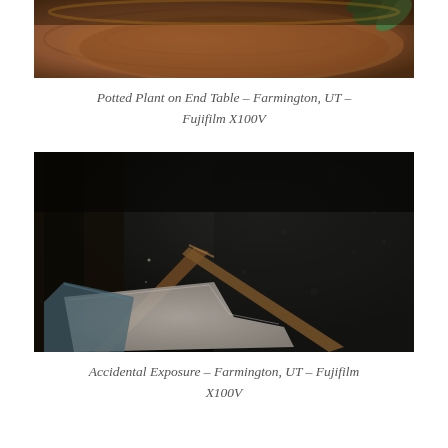[Figure (photo): Partial view of a potted plant on a wooden end table, showing green leaves at top right and warm brown wood tones. Image is cropped, showing only the upper portion.]
Potted Plant on End Table – Farmington, UT – Fujifilm X100V
[Figure (photo): Close-up dark moody photograph described as an accidental exposure. Shows indistinct shapes — possibly fabric/clothing items — against a very dark textured background. Low light, blurred, dark tones with hints of blue, white, and brown.]
Accidental Exposure – Farmington, UT – Fujifilm X100V